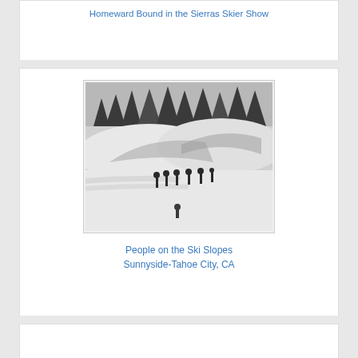Homeward Bound in the Sierras Skier Show
[Figure (photo): Black and white photograph showing people standing on ski slopes with large snow mounds/banks and pine trees in the background at Sunnyside-Tahoe City, CA]
People on the Ski Slopes
Sunnyside-Tahoe City, CA